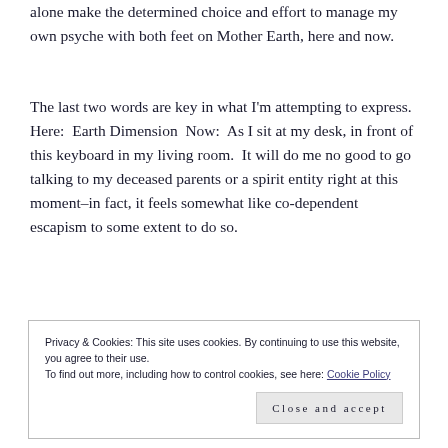alone make the determined choice and effort to manage my own psyche with both feet on Mother Earth, here and now.
The last two words are key in what I'm attempting to express.  Here:  Earth Dimension  Now:  As I sit at my desk, in front of this keyboard in my living room.  It will do me no good to go talking to my deceased parents or a spirit entity right at this moment–in fact, it feels somewhat like co-dependent escapism to some extent to do so.
Privacy & Cookies: This site uses cookies. By continuing to use this website, you agree to their use.
To find out more, including how to control cookies, see here: Cookie Policy
Close and accept